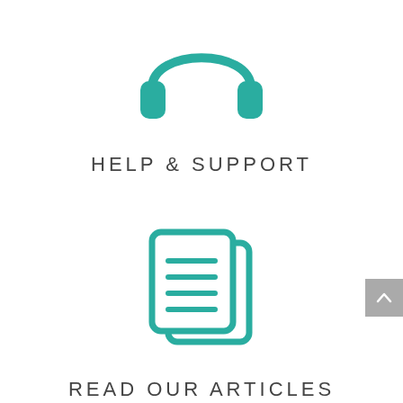[Figure (illustration): Teal/turquoise headphones icon centered at top of page]
HELP & SUPPORT
[Figure (illustration): Teal/turquoise documents/articles icon centered in lower half of page]
READ OUR ARTICLES